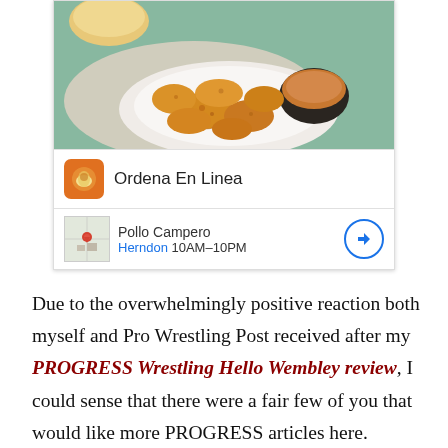[Figure (screenshot): An advertisement card showing fried chicken nuggets with dipping sauce, with 'Ordena En Linea' branding and Pollo Campero location info (Herndon, 10AM-10PM)]
Due to the overwhelmingly positive reaction both myself and Pro Wrestling Post received after my PROGRESS Wrestling Hello Wembley review, I could sense that there were a fair few of you that would like more PROGRESS articles here.